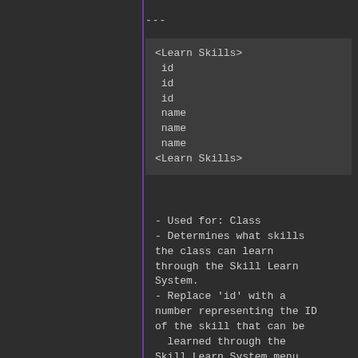---
<Learn Skills>
 id
 id
 id
 name
 name
 name
<Learn Skills>
- Used for: Class
- Determines what skills the class can learn through the Skill Learn System.
- Replace 'id' with a number representing the ID of the skill that can be
  learned through the Skill Learn System menu.
- Replace 'name' with the name of the skill that can
be learned through the